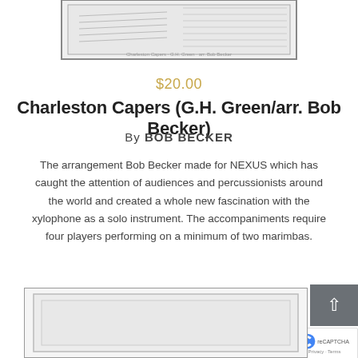[Figure (illustration): Partial view of a sheet music cover illustration at the top of the page, showing a decorative line drawing]
$20.00
Charleston Capers (G.H. Green/arr. Bob Becker)
By BOB BECKER
The arrangement Bob Becker made for NEXUS which has caught the attention of audiences and percussionists around the world and created a whole new fascination with the xylophone as a solo instrument. The accompaniments require four players performing on a minimum of two marimbas.
[Figure (illustration): Partial view of a sheet music cover at the bottom of the page with a bordered rectangle frame]